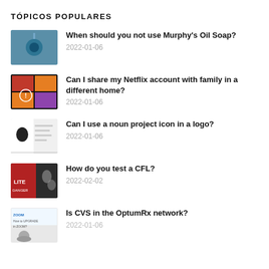TÓPICOS POPULARES
When should you not use Murphy's Oil Soap?
Can I share my Netflix account with family in a different home?
Can I use a noun project icon in a logo?
How do you test a CFL?
Is CVS in the OptumRx network?